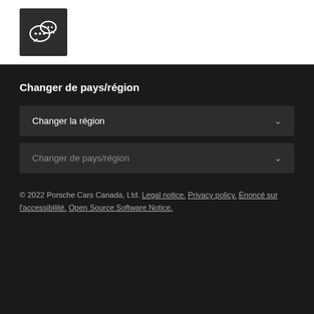[Figure (logo): WeChat logo icon — white chat bubble icons on dark grey background]
Changer de pays/région
Changer la région
Changer de pays/région
© 2022 Porsche Cars Canada, Ltd. Legal notice. Privacy policy. Énoncé sur l'accessibilité. Open Source Software Notice.